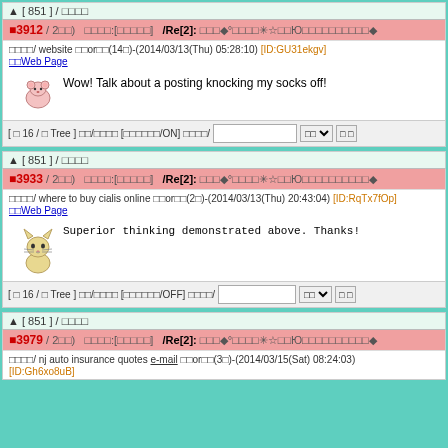▲ [ 851 ] / □□□□
■3912 / 2□□)   □□□□:[□□□□□]   /Re[2]: □□□◆°□□□□✳☆□□ Э□□□□□□□□□□◆
□□□□/ website □□or□□(14□)-(2014/03/13(Thu) 05:28:10) [ID:GU31ekgv] □□Web Page
Wow! Talk about a posting knocking my socks off!
[ □ 16 / □ Tree ] □□/□□□□ [□□□□□□/ON] □□□□/
▲ [ 851 ] / □□□□
■3933 / 2□□)   □□□□:[□□□□□]   /Re[2]: □□□◆°□□□□✳☆□□Ю□□□□□□□□□□◆
□□□□/ where to buy cialis online □□or□□(2□)-(2014/03/13(Thu) 20:43:04) [ID:RqTx7fOp] □□Web Page
Superior thinking demonstrated above. Thanks!
[ □ 16 / □ Tree ] □□/□□□□ [□□□□□□/OFF] □□□□/
▲ [ 851 ] / □□□□
■3979 / 2□□)   □□□□:[□□□□□]   /Re[2]: □□□◆°□□□□✳☆□□Ю□□□□□□□□□□◆
□□□□/ nj auto insurance quotes e-mail □□or□□(3□)-(2014/03/15(Sat) 08:24:03) [ID:Gh6xo8uB]